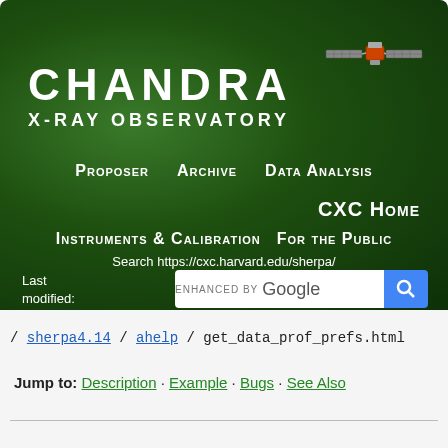[Figure (screenshot): Chandra X-ray Observatory website header with green gradient background, satellite illustration, navigation links (Proposer, Archive, Data Analysis, CXC Home, Instruments & Calibration, For the Public), Google search bar, and last modified date December 2019]
/ sherpa4.14 / ahelp / get_data_prof_prefs.html
Jump to: Description · Example · Bugs · See Also